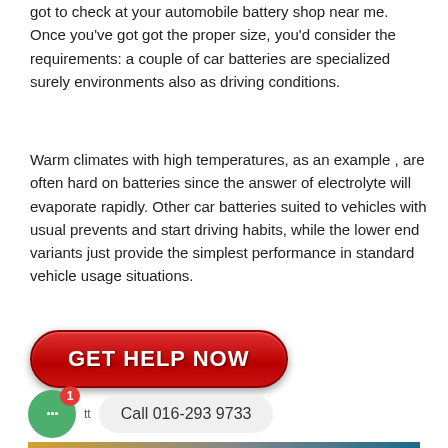got to check at your automobile battery shop near me. Once you've got got the proper size, you'd consider the requirements: a couple of car batteries are specialized surely environments also as driving conditions.
Warm climates with high temperatures, as an example , are often hard on batteries since the answer of electrolyte will evaporate rapidly. Other car batteries suited to vehicles with usual prevents and start driving habits, while the lower end variants just provide the simplest performance in standard vehicle usage situations.
[Figure (other): Red rounded rectangle button with white bold text reading GET HELP NOW]
[Figure (other): Green circular chat bubble icon with notification badge showing 1, next to a call box showing Call 016-293 9733, and a grey scroll-to-top button on the right]
[Figure (photo): Partial image strip showing product images at the bottom of the page]